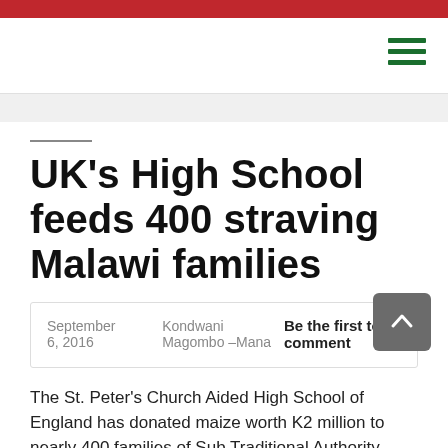UK’s High School feeds 400 straving Malawi families
September 6, 2016   Kondwani Magombo –Mana   Be the first to comment
The St. Peter’s Church Aided High School of England has donated maize worth K2 million to nearly 400 families of Sub Traditional Authority (STA) Chitanthemaniri in